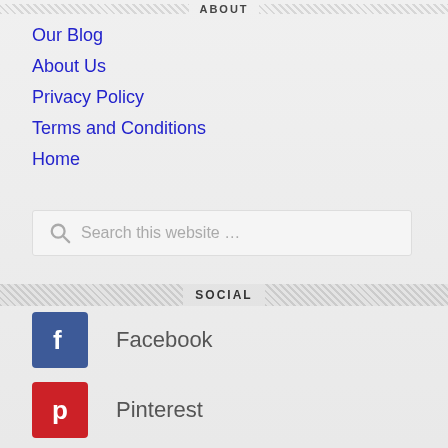ABOUT
Our Blog
About Us
Privacy Policy
Terms and Conditions
Home
Search this website ...
SOCIAL
Facebook
Pinterest
Twitter
Google+